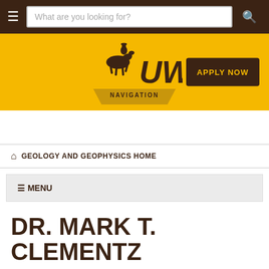[Figure (screenshot): University of Wyoming website header with dark brown top navigation bar containing hamburger menu icon, search box with placeholder text 'What are you looking for?', and search button]
[Figure (logo): University of Wyoming logo on yellow banner: bucking horse and rider silhouette with 'UW' text, below it a pentagon/chevron shape with 'NAVIGATION' text. 'APPLY NOW' button in dark brown on the right.]
GEOLOGY AND GEOPHYSICS HOME
≡ MENU
DR. MARK T. CLEMENTZ